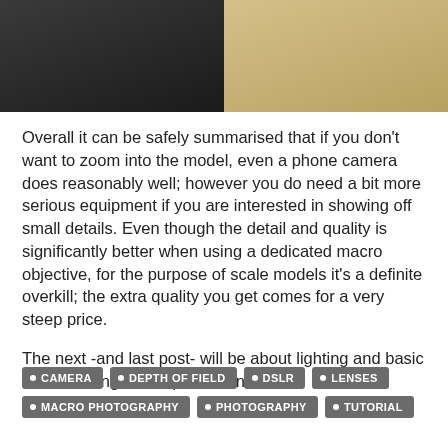[Figure (photo): Two photos side by side: left shows a dark background with a small scale model tank, right shows a close-up detail of a model in sandy/tan color]
Overall it can be safely summarised that if you don't want to zoom into the model, even a phone camera does reasonably well; however you do need a bit more serious equipment if you are interested in showing off small details. Even though the detail and quality is significantly better when using a dedicated macro objective, for the purpose of scale models it's a definite overkill; the extra quality you get comes for a very steep price.
The next -and last post- will be about lighting and basic studio settings... keep tuned in.
CAMERA
DEPTH OF FIELD
DSLR
LENSES
MACRO PHOTOGRAPHY
PHOTOGRAPHY
TUTORIAL